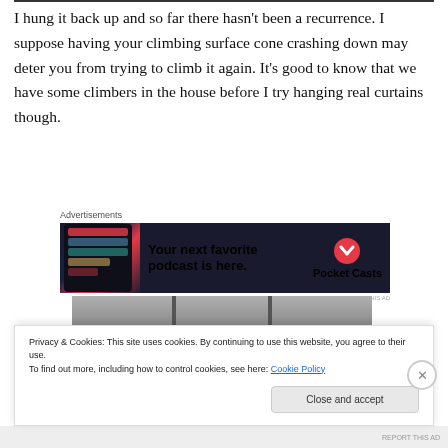I hung it back up and so far there hasn't been a recurrence. I suppose having your climbing surface cone crashing down may deter you from trying to climb it again. It's good to know that we have some climbers in the house before I try hanging real curtains though.
[Figure (other): Advertisement banner for Pocket Casts podcast app: 'Your next favorite podcast is here.' with app screenshot and Pocket Casts logo]
[Figure (photo): Partial photo of curtains or a climbing surface]
Privacy & Cookies: This site uses cookies. By continuing to use this website, you agree to their use.
To find out more, including how to control cookies, see here: Cookie Policy
Close and accept